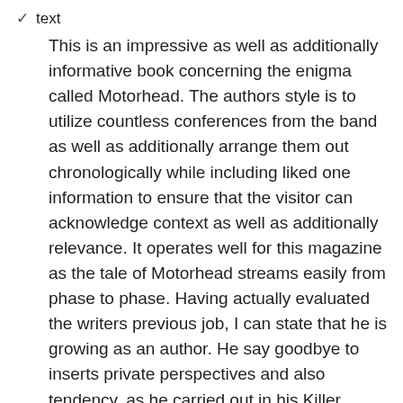✓ text
This is an impressive as well as additionally informative book concerning the enigma called Motorhead. The authors style is to utilize countless conferences from the band as well as additionally arrange them out chronologically while including liked one information to ensure that the visitor can acknowledge context as well as additionally relevance. It operates well for this magazine as the tale of Motorhead streams easily from phase to phase. Having actually evaluated the writers previous job, I can state that he is growing as an author. He say goodbye to inserts private perspectives and also tendency, as he carried out in his Killer biography. He currently enables the site visitor to develop their extremely own opionions based upon private preference in addition to experience. Generally, I